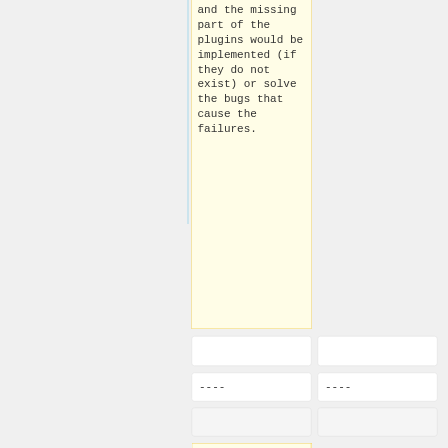and the missing part of the plugins would be implemented (if they do not exist) or solve the bugs that cause the failures.
----
----
In order to satisfy all our users